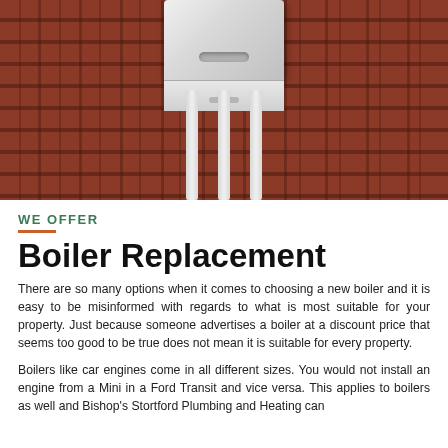[Figure (photo): Photo of a white boiler/heating unit mounted on a brick wall, with pipes running down below it.]
WE OFFER
Boiler Replacement
There are so many options when it comes to choosing a new boiler and it is easy to be misinformed with regards to what is most suitable for your property. Just because someone advertises a boiler at a discount price that seems too good to be true does not mean it is suitable for every property.
Boilers like car engines come in all different sizes. You would not install an engine from a Mini in a Ford Transit and vice versa. This applies to boilers as well and Bishop's Stortford Plumbing and Heating can